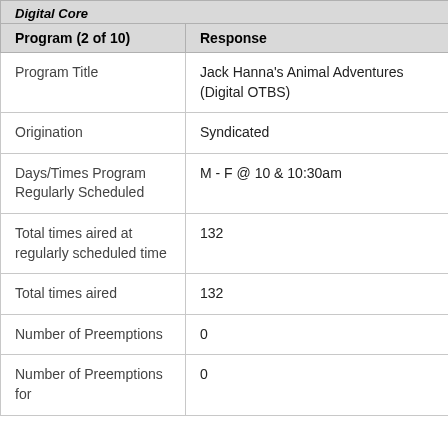| Program (2 of 10) | Response |
| --- | --- |
| Program Title | Jack Hanna's Animal Adventures (Digital OTBS) |
| Origination | Syndicated |
| Days/Times Program Regularly Scheduled | M - F @ 10 & 10:30am |
| Total times aired at regularly scheduled time | 132 |
| Total times aired | 132 |
| Number of Preemptions | 0 |
| Number of Preemptions for | 0 |